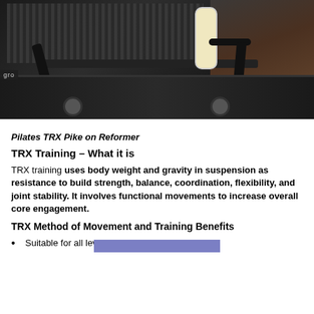[Figure (photo): Close-up photo of a Pilates reformer machine with handles, rails, and a foam roller pad, on a wooden floor background. A label reading 'gro' is partially visible on the left side.]
Pilates TRX Pike on Reformer
TRX Training – What it is
TRX training uses body weight and gravity in suspension as resistance to build strength, balance, coordination, flexibility, and joint stability.  It involves functional movements to increase overall core engagement.
TRX Method of Movement and Training Benefits
Suitable for all levels with appropriate exercises;